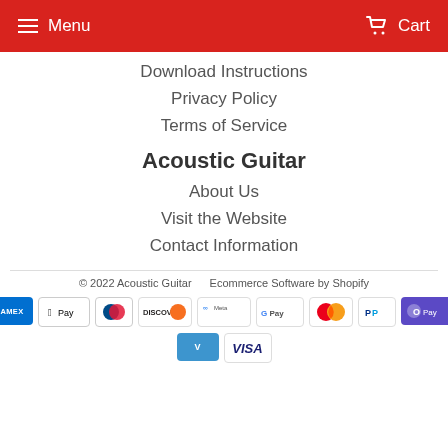Menu   Cart
Download Instructions
Privacy Policy
Terms of Service
Acoustic Guitar
About Us
Visit the Website
Contact Information
© 2022 Acoustic Guitar    Ecommerce Software by Shopify
[Figure (other): Payment method icons: Amex, Apple Pay, Diners Club, Discover, Meta Pay, Google Pay, Mastercard, PayPal, Shop Pay, Venmo, Visa]